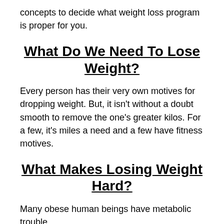concepts to decide what weight loss program is proper for you.
What Do We Need To Lose Weight?
Every person has their very own motives for dropping weight. But, it isn't without a doubt smooth to remove the one's greater kilos. For a few, it's miles a need and a few have fitness motives.
What Makes Losing Weight Hard?
Many obese human beings have metabolic trouble.